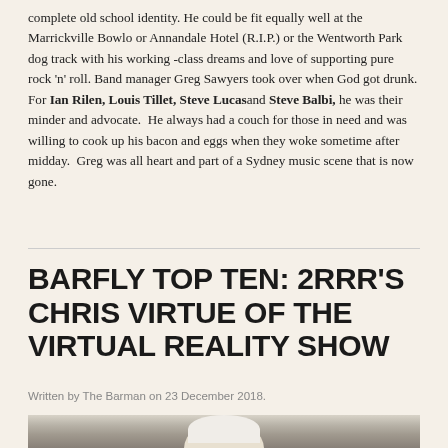complete old school identity. He could be fit equally well at the Marrickville Bowlo or Annandale Hotel (R.I.P.) or the Wentworth Park dog track with his working -class dreams and love of supporting pure rock 'n' roll. Band manager Greg Sawyers took over when God got drunk. For Ian Rilen, Louis Tillet, Steve Lucas and Steve Balbi, he was their minder and advocate.  He always had a couch for those in need and was willing to cook up his bacon and eggs when they woke sometime after midday.  Greg was all heart and part of a Sydney music scene that is now gone.
BARFLY TOP TEN: 2RRR'S CHRIS VIRTUE OF THE VIRTUAL REALITY SHOW
Written by The Barman on 23 December 2018.
[Figure (photo): Partial photo of a person with light/white hair, shown from approximately shoulders up, against a grey background. Only the top portion of the image is visible.]